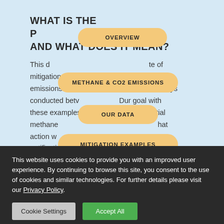WHAT IS THE [PROTOCOL] AND WHAT DOES IT MEAN?
This [document provides a curated set] of mitigation examples that show methane emissions observations from airborne surveys conducted betw[een years]. Our goal with these examples is to highlight where initial methane [emissions were identified, so] that action w[as taken following operator] notification, and how subsequent overflights
[Figure (other): Navigation pill button: OVERVIEW]
[Figure (other): Navigation pill button: METHANE & CO2 EMISSIONS]
[Figure (other): Navigation pill button: OUR DATA]
[Figure (other): Navigation pill button: MITIGATION EXAMPLES]
This website uses cookies to provide you with an improved user experience. By continuing to browse this site, you consent to the use of cookies and similar technologies. For further details please visit our Privacy Policy.